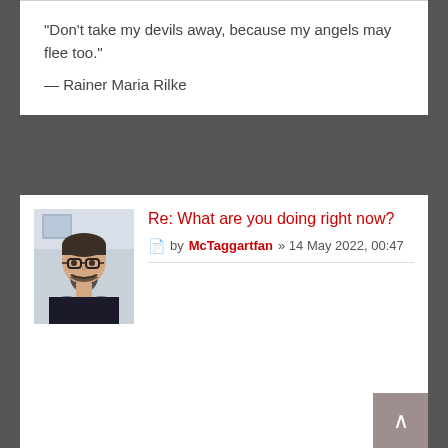“Don’t take my devils away, because my angels may flee too.”
— Rainer Maria Rilke
Re: What are you doing right now?
by McTaggartfan » 14 May 2022, 00:47
[Figure (photo): Profile photo of McTaggartfan - a man with glasses and a beard]
McTaggartfan
poolerboy0077 wrote:
Just finished watching a clip of a woman a few weeks ago who had her faces destroyed by two dogs. Her cheeks and lips were bitten off. I honestly couldn’t finish watching the whole thing. And while this was a tragic incident involving a dog sitter visiting a home, I couldn’t help but recall the time